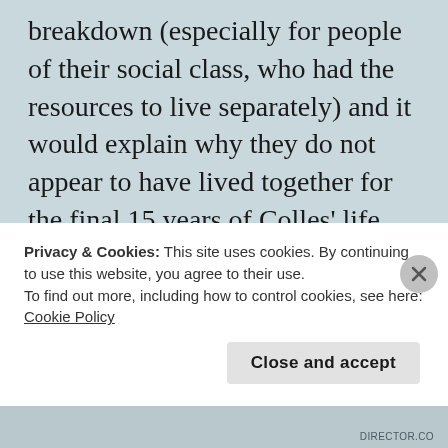breakdown (especially for people of their social class, who had the resources to live separately) and it would explain why they do not appear to have lived together for the final 15 years of Colles' life.
After his move to London, Colles continued to work as a periodical editor (and proprietor) for a number of years. Given his rather splenetic editorial tone, it is slightly surprising that he appears to have specialised in editing women's magazines. In 1904 he
Privacy & Cookies: This site uses cookies. By continuing to use this website, you agree to their use.
To find out more, including how to control cookies, see here:
Cookie Policy
Close and accept